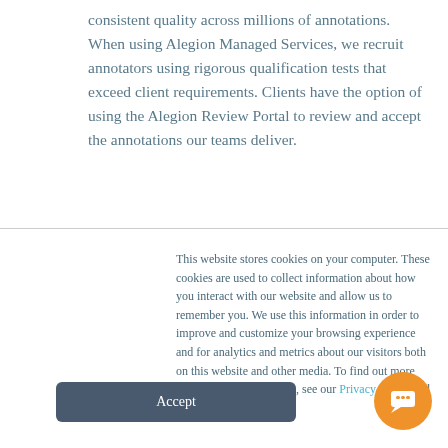consistent quality across millions of annotations. When using Alegion Managed Services, we recruit annotators using rigorous qualification tests that exceed client requirements. Clients have the option of using the Alegion Review Portal to review and accept the annotations our teams deliver.
This website stores cookies on your computer. These cookies are used to collect information about how you interact with our website and allow us to remember you. We use this information in order to improve and customize your browsing experience and for analytics and metrics about our visitors both on this website and other media. To find out more about the cookies we use, see our Privacy Policy and Cookie Policy.